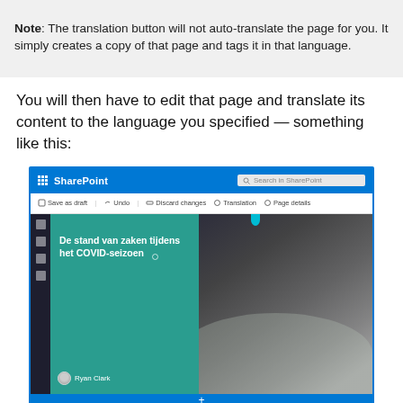Note: The translation button will not auto-translate the page for you. It simply creates a copy of that page and tags it in that language.
You will then have to edit that page and translate its content to the language you specified — something like this:
[Figure (screenshot): Screenshot of SharePoint page editor showing a translated page in Dutch titled 'De stand van zaken tijdens het COVID-seizoen' with a person wearing a face mask in the background. The toolbar shows options: Save as draft, Undo, Discard changes, Translation, Page details.]